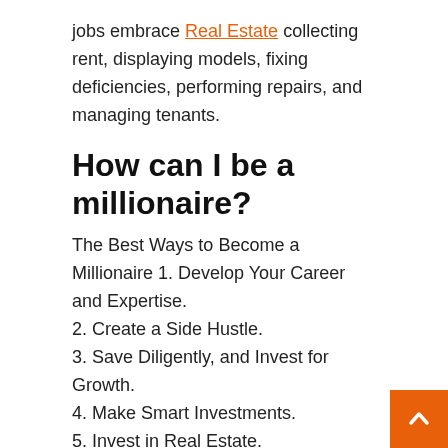jobs embrace Real Estate collecting rent, displaying models, fixing deficiencies, performing repairs, and managing tenants.
How can I be a millionaire?
The Best Ways to Become a Millionaire 1. Develop Your Career and Expertise.
2. Create a Side Hustle.
3. Save Diligently, and Invest for Growth.
4. Make Smart Investments.
5. Invest in Real Estate.
6. Create a Financial Plan.
The Intercontinental portfolio is diversified by robust property mix and geography. Fund methods actively search alternatives to put money into each Core and Core-Plus properties, as properly as in Value-Add